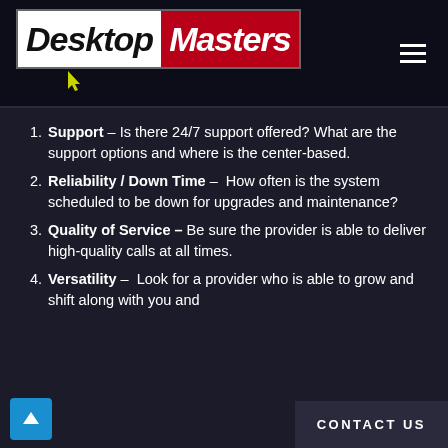[Figure (logo): DesktopMasters logo with white background for 'Desktop' text in black italic bold and red background for 'Masters' text in white italic bold, with a yellow cursor arrow below]
Support – Is there 24/7 support offered? What are the support options and where is the center-based.
Reliability / Down Time – How often is the system scheduled to be down for upgrades and maintenance?
Quality of Service – Be sure the provider is able to deliver high-quality calls at all times.
Versatility – Look for a provider who is able to grow and shift along with you and